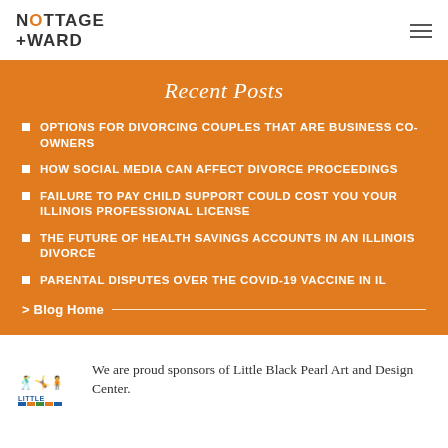NOTTAGE +WARD
Recent Posts
OPTIONS FOR DIVORCING COUPLES THAT ARE BUSINESS CO-OWNERS
HOW SOCIAL MEDIA CAN AFFECT DIVORCE PROCEEDINGS
FAILURE TO PAY CHILD SUPPORT COULD COST YOU YOUR ILLINOIS PROFESSIONAL LICENSE
THE FUTURE OF HEALTH SAVINGS ACCOUNTS IN AN ILLINOIS DIVORCE
PARENTAL DISPUTES OVER THE COVID-19 VACCINE IN IL
> Blog Home
[Figure (logo): Little Black Pearl Art and Design Center logo — colorful figures]
We are proud sponsors of Little Black Pearl Art and Design Center.